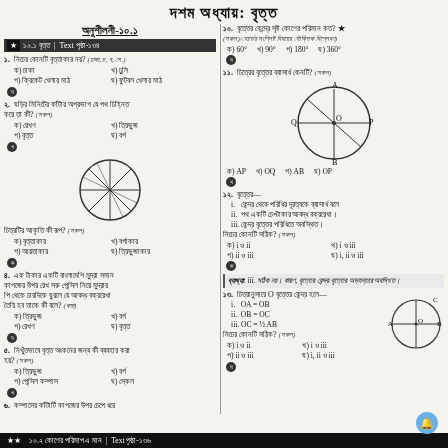দশম অধ্যায়: বৃত্ত
অনুশীলনী-১০.১
★ ১০.১ বৃত্ত | Text পৃষ্ঠা-১৩৪
১. নিচের কোনটি বৃত্তাকার নয়? (ঢাকা, চ, ব, সে.)
ক) চাকা  খ) ঢুলি  গ) ক্রিকেট খেলার মাঠ  ঘ) ফুটবল খেলার মাঠ
২. ঘড়ির মিনিটের কাঁটার অগ্রভাগ যে পথ চিহ্নিত করে তা কী? (সকল)
ক) রেখণ  খ) ত্রিভুজ  গ) বৃত্ত  ঘ) বর্গ
[Figure (illustration): Circle diagram with cross lines inside (wheel/pie shape)]
চিত্রটির আকৃতি কী রূপ? (সকল)
ক) বৃত্তাকার  খ) বর্গাকার  গ) আয়তাকার  ঘ) ত্রিভুজাকার
৪. এক টাকার একটি বাংলাদেশি মুদ্রা সমান কাগজের উপর রেখ সরু পেন্সিল নিয়ে মুদ্রার পি থেকে চারদিকে ঘুরলে যে আবদ্ধ বক্ররেখা তৈরি হব তাকে কী বলে? (কমা)
ক) ত্রিভুজ  খ) বর্গ  গ) রেখণ  ঘ) বৃত্ত
৫. নিখুঁতভাবে বৃত্ত অংকনের জন্য কী ব্যবহার করা হয়? (সকল)
ক) ত্রিভুজ  খ) বর্গ  গ) পেন্সিল কম্পাস  ঘ) স্কেল
৬. কম্পাসের কাঁটাটি কাগজের উপর চেপে ধরে
১০. বৃত্তের কেন্দ্রে সৃষ্ট কোণের পরিমান কত? ★
(সকল)/বোর্ডের সংশ্লিষ্ট বিষয়ের যৌক্তিক বিশ্লেষণ)
ক) 60°  খ) 90°  গ) 180°  ঘ) 360°
১১. চিত্রের বৃত্তের ব্যাসার্ধ কেনটি? (সকল)
[Figure (illustration): Circle with center O, points A (top), B (bottom), Q (left), P (right) marked]
ক) AP  খ) OQ  গ) AB  ঘ) OP
১২. বৃত্তের—
i. কেন্দ্র থেকে পরিধির দূরত্বকে ব্যাসার্ধ বলে
ii. পথ একটি চেপ্টাকার আবদ্ধ বক্ররেখা।
iii. কেন্দ্র বৃত্তের পরিধিতে অবস্থিত।
নিচের কোনটি সঠিক?
ক) i ও ii  খ) i ও iii
গ) ii ও iii  ঘ) i, ii ও iii
ব্যাখ্যা: iii. সঠিক নয়। কারণ, বৃত্তের কেন্দ্র বৃত্তের অভ্যন্তরে অবস্থিত।
১৩. চিত্রানুসারে O বৃত্তের কেন্দ্র হলে—
i. OA = OB
ii. OB = OC
iii. OC = ½ AB
নিচের কোনটি সঠিক?
ক) i ও ii  খ) i ও iii
গ) ii ও iii  ঘ) i, ii ও iii
[Figure (illustration): Circle with center O, points A (left), B (right), C (top) marked]
★★ ১০.২ কোণের পরিমাপ এ মান | Text পৃষ্ঠা-১৩৬